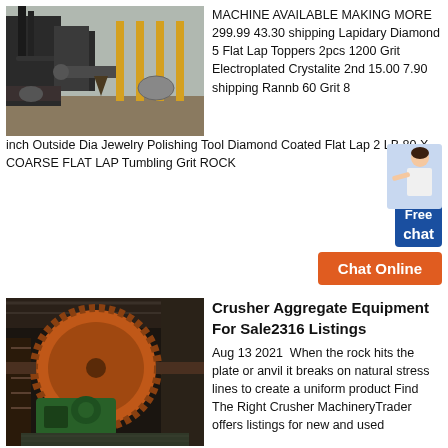[Figure (photo): Industrial facility with large machinery, yellow structural columns, pipes, and dust collection equipment outdoors]
MACHINE AVAILABLE MAKING MORE 299.99 43.30 shipping Lapidary Diamond 5 Flat Lap Toppers 2pcs 1200 Grit Electroplated Crystalite 2nd 15.00 7.90 shipping Rannb 60 Grit 8 inch Outside Dia Jewelry Polishing Tool Diamond Coated Flat Lap 2 LB 80 X COARSE FLAT LAP Tumbling Grit ROCK
[Figure (photo): Industrial ball mill or rotary drum machinery in a large warehouse/factory setting with green motor and orange drum]
Crusher Aggregate Equipment For Sale2316 Listings Aug 13 2021 When the rock hits the plate or anvil it breaks on natural stress lines to create a uniform product Find The Right Crusher MachineryTrader offers listings for new and used